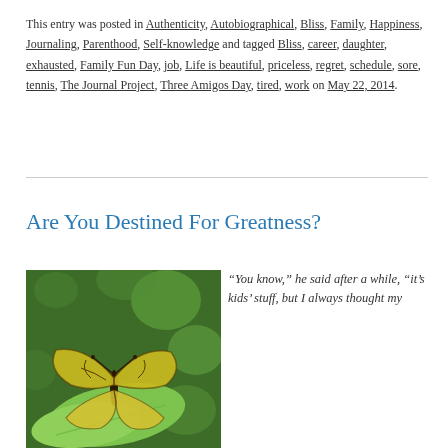This entry was posted in Authenticity, Autobiographical, Bliss, Family, Happiness, Journaling, Parenthood, Self-knowledge and tagged Bliss, career, daughter, exhausted, Family Fun Day, job, Life is beautiful, priceless, regret, schedule, sore, tennis, The Journal Project, Three Amigos Day, tired, work on May 22, 2014.
Are You Destined For Greatness?
[Figure (photo): A butterfly with yellow and brown wing patterns resting on a green leaf, with a blurred green bokeh background.]
“You know,” he said after a while, “it’s kids’ stuff, but I always thought my